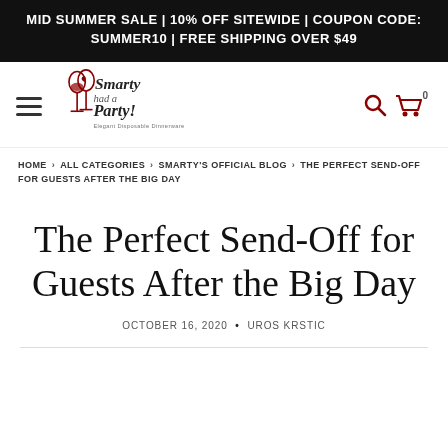MID SUMMER SALE | 10% OFF SITEWIDE | COUPON CODE: SUMMER10 | FREE SHIPPING OVER $49
[Figure (logo): Smarty Had a Party logo with wine glasses and text 'Elegant Disposable Dinnerware']
HOME › ALL CATEGORIES › SMARTY'S OFFICIAL BLOG › THE PERFECT SEND-OFF FOR GUESTS AFTER THE BIG DAY
The Perfect Send-Off for Guests After the Big Day
OCTOBER 16, 2020 • UROS KRSTIC